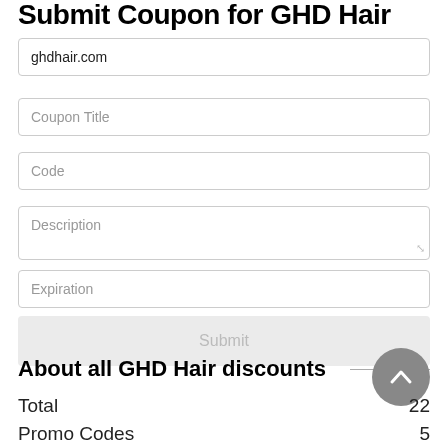Submit Coupon for GHD Hair
ghdhair.com
Coupon Title
Code
Description
Expiration
Submit
About all GHD Hair discounts
|  |  |
| --- | --- |
| Total | 22 |
| Promo Codes | 5 |
| Deals | 17 |
| Max Discount | 25% |
| Last Updated | August 2022 |